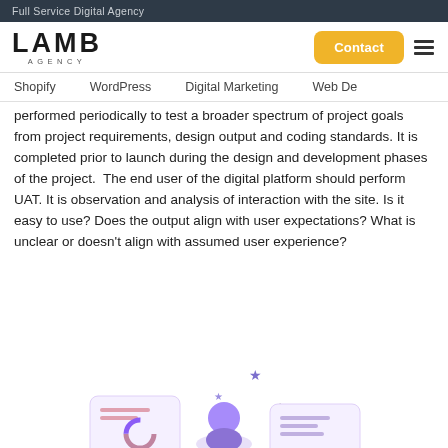Full Service Digital Agency
[Figure (logo): LAMB AGENCY logo in bold black text with AGENCY in small spaced caps below]
Contact
Shopify   WordPress   Digital Marketing   Web De…
performed periodically to test a broader spectrum of project goals from project requirements, design output and coding standards. It is completed prior to launch during the design and development phases of the project.  The end user of the digital platform should perform UAT. It is observation and analysis of interaction with the site. Is it easy to use? Does the output align with user expectations? What is unclear or doesn't align with assumed user experience?
[Figure (illustration): Partial illustration showing decorative star shapes and bottom portion of a digital/analytics graphic with purple and pink UI elements]